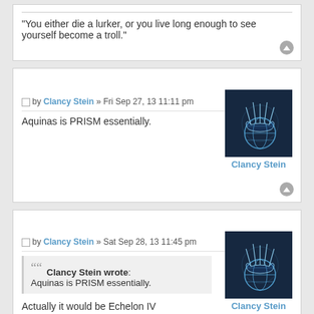"You either die a lurker, or you live long enough to see yourself become a troll."
by Clancy Stein » Fri Sep 27, 13 11:11 pm
Aquinas is PRISM essentially.
[Figure (illustration): Avatar image showing a blue glowing hand/globe icon for user Clancy Stein]
Clancy Stein
by Clancy Stein » Sat Sep 28, 13 11:45 pm
Clancy Stein wrote: Aquinas is PRISM essentially.
[Figure (illustration): Avatar image showing a blue glowing hand/globe icon for user Clancy Stein]
Clancy Stein
Actually it would be Echelon IV